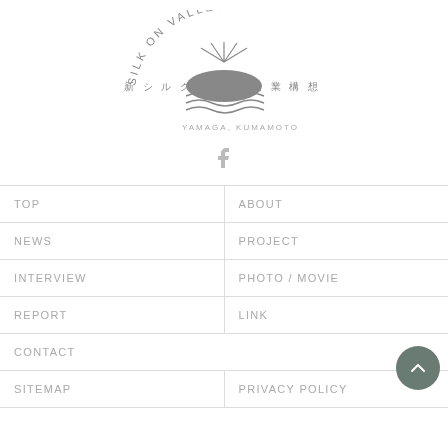[Figure (logo): Silk on Valley logo with Japanese text '新シルク蚕業構想' and subtitle 'YAMAGA, KUMAMOTO', featuring a stylized mountain/hill with rays and waves]
[Figure (logo): Facebook 'f' icon in gray]
TOP
ABOUT
NEWS
PROJECT
INTERVIEW
PHOTO / MOVIE
REPORT
LINK
CONTACT
SITEMAP
PRIVACY POLICY